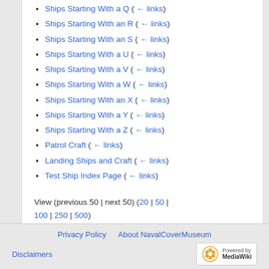Ships Starting With a Q  (← links)
Ships Starting With an R  (← links)
Ships Starting With an S  (← links)
Ships Starting With a U  (← links)
Ships Starting With a V  (← links)
Ships Starting With a W  (← links)
Ships Starting With an X  (← links)
Ships Starting With a Y  (← links)
Ships Starting With a Z  (← links)
Patrol Craft  (← links)
Landing Ships and Craft  (← links)
Test Ship Index Page  (← links)
View (previous 50 | next 50) (20 | 50 | 100 | 250 | 500)
Privacy Policy   About NavalCoverMuseum   Disclaimers   Powered by MediaWiki